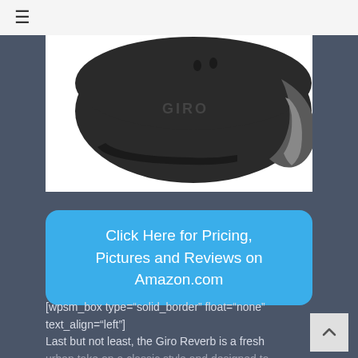≡
[Figure (photo): A Giro brand black bicycle/urban helmet shown from the side, with a brim. The helmet is matte black with the GIRO logo visible on the side. Shown against a white background.]
Click Here for Pricing, Pictures and Reviews on Amazon.com
[wpsm_box type="solid_border" float="none" text_align="left"]
Last but not least, the Giro Reverb is a fresh urban take on a classic style and designed to